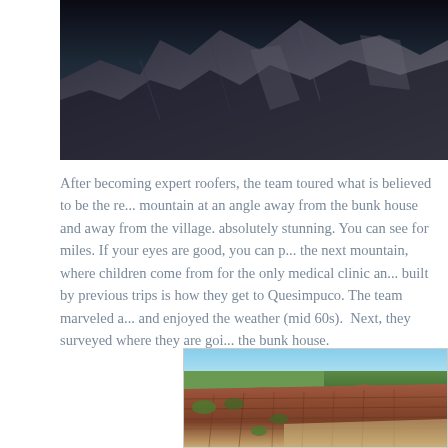[Figure (photo): Dark mountain landscape photo at top of page, showing rocky mountain peaks with dramatic lighting and shadow]
After becoming expert roofers, the team toured what is believed to be the re... mountain at an angle away from the bunk house and away from the village. absolutely stunning. You can see for miles. If your eyes are good, you can p... the next mountain, where children come from for the only medical clinic an... built by previous trips is how they get to Quesimpuco. The team marveled a... and enjoyed the weather (mid 60s). Next, they surveyed where they are goi... the bunk house.
[Figure (photo): Colorful mountain cliff face with red, brown and orange rocky formations, green vegetation on top, and blue sky above. Appears to be in South America near Quesimpuco.]